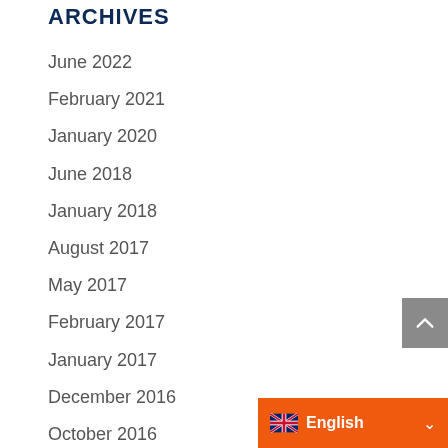ARCHIVES
June 2022
February 2021
January 2020
June 2018
January 2018
August 2017
May 2017
February 2017
January 2017
December 2016
October 2016
July 2016
June 2016